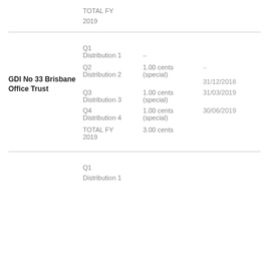TOTAL FY
2019
| Quarter/Distribution | Amount | Date |
| --- | --- | --- |
| Q1 Distribution 1 | – |  |
| Q2 Distribution 2 | 1.00 cents (special) | – |
|  |  | 31/12/2018 |
| Q3 Distribution 3 | 1.00 cents (special) | 31/03/2019 |
| Q4 Distribution 4 | 1.00 cents (special) | 30/06/2019 |
| TOTAL FY 2019 | 3.00 cents |  |
GDI No 33 Brisbane Office Trust
Q1
Distribution 1